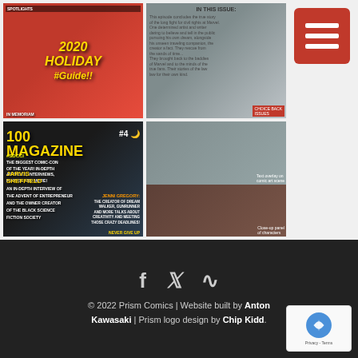[Figure (photo): Grid of four magazine/comic cover and article thumbnail images]
[Figure (illustration): Red square menu/hamburger button icon in top right corner]
© 2022 Prism Comics | Website built by Anton Kawasaki | Prism logo design by Chip Kidd.